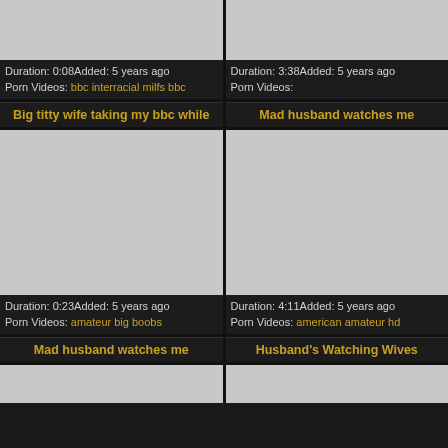[Figure (photo): Video thumbnail placeholder (gray) top-left]
Duration: 0:08Added: 5 years ago
Porn Videos: bbc interracial milfs bbc
[Figure (photo): Video thumbnail placeholder (gray) top-right]
Duration: 3:38Added: 5 years ago
Porn Videos:
Big titty wife taking my bbc while
Mad husband watches me
[Figure (photo): Video thumbnail placeholder (gray) middle-left]
Duration: 0:23Added: 5 years ago
Porn Videos: amateur big boobs
[Figure (photo): Video thumbnail placeholder (gray) middle-right]
Duration: 4:11Added: 5 years ago
Porn Videos: american amateur hd
Mad husband watches me
Husband's Watching Wives
[Figure (photo): Video thumbnail placeholder (gray) bottom-left]
[Figure (photo): Video thumbnail placeholder (gray) bottom-right]